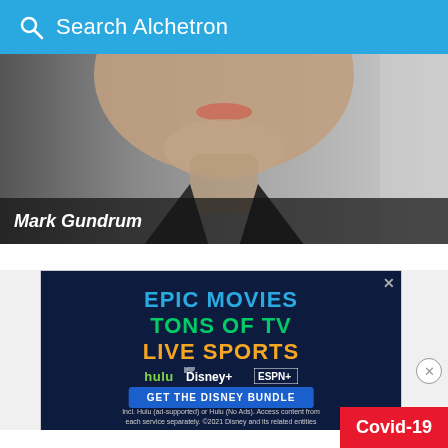Search Alchetron
[Figure (photo): Partial face photo of Mark Gundrum showing chin and neck area, wearing a dark suit]
Mark Gundrum
[Figure (infographic): Disney Bundle advertisement with text: EPIC MOVIES TONS OF TV LIVE SPORTS, featuring Hulu, Disney+, ESPN+ logos and GET THE DISNEY BUNDLE button. Fine print: Incl. Hulu (ad-supported) or Hulu (No Ads). Access content from each service separately. ©2021 Disney and its related entities]
Covid-19